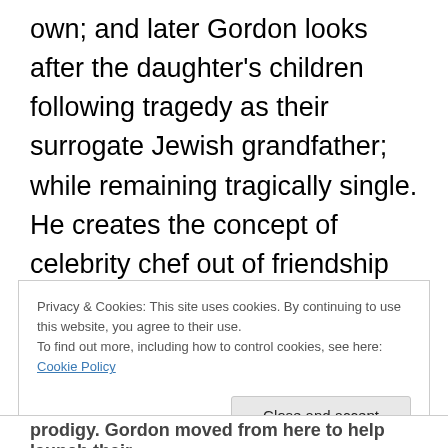own; and later Gordon looks after the daughter's children following tragedy as their surrogate Jewish grandfather; while remaining tragically single. He creates the concept of celebrity chef out of friendship with the inventor of nouveau cuisine, because he believes the revered chef is not earning an amount of money commensurate to his talent. He is all things to all clients. But when Gordon has life-threatening surgery with low chances of survival the only person by his bedside when he wakes up is his PA, who is tearful about his isolation.
Privacy & Cookies: This site uses cookies. By continuing to use this website, you agree to their use.
To find out more, including how to control cookies, see here: Cookie Policy
Close and accept
prodigy. Gordon moved from here to help launch their